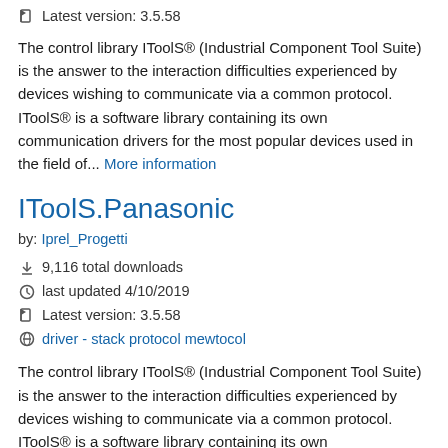Latest version: 3.5.58
The control library IToolS® (Industrial Component Tool Suite) is the answer to the interaction difficulties experienced by devices wishing to communicate via a common protocol. IToolS® is a software library containing its own communication drivers for the most popular devices used in the field of... More information
IToolS.Panasonic
by: Iprel_Progetti
9,116 total downloads
last updated 4/10/2019
Latest version: 3.5.58
driver - stack protocol mewtocol
The control library IToolS® (Industrial Component Tool Suite) is the answer to the interaction difficulties experienced by devices wishing to communicate via a common protocol. IToolS® is a software library containing its own communication drivers for the most popular devices used in the field of... More information